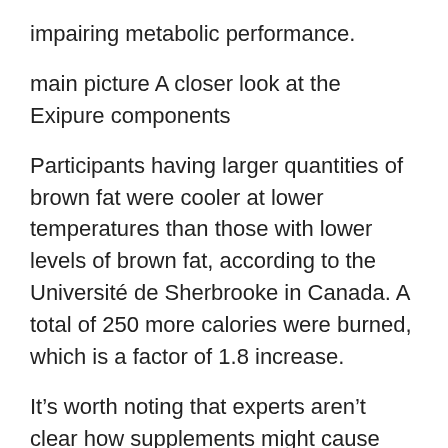impairing metabolic performance.
main picture A closer look at the Exipure components
Participants having larger quantities of brown fat were cooler at lower temperatures than those with lower levels of brown fat, according to the Université de Sherbrooke in Canada. A total of 250 more calories were burned, which is a factor of 1.8 increase.
It's worth noting that experts aren't clear how supplements might cause BAT levels to rise for optimum fat burning.
The following critical nutrients derived from tropical herbs and plants are highlighted in the Exipure content list to address the fundamental cause of stomach fat and slowed metabolism: